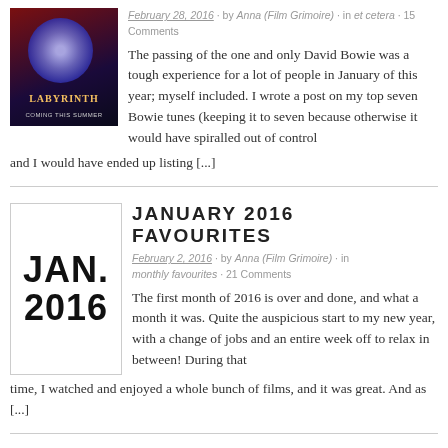[Figure (photo): Labyrinth movie poster thumbnail with purple/blue glowing orb and dark background]
February 28, 2016 · by Anna (Film Grimoire) · in et cetera · 15 Comments
The passing of the one and only David Bowie was a tough experience for a lot of people in January of this year; myself included. I wrote a post on my top seven Bowie tunes (keeping it to seven because otherwise it would have spiralled out of control and I would have ended up listing [...]
[Figure (illustration): JAN. 2016 text image with large bold lettering on white background with border]
JANUARY 2016 FAVOURITES
February 2, 2016 · by Anna (Film Grimoire) · in monthly favourites · 21 Comments
The first month of 2016 is over and done, and what a month it was. Quite the auspicious start to my new year, with a change of jobs and an entire week off to relax in between! During that time, I watched and enjoyed a whole bunch of films, and it was great. And as [...]